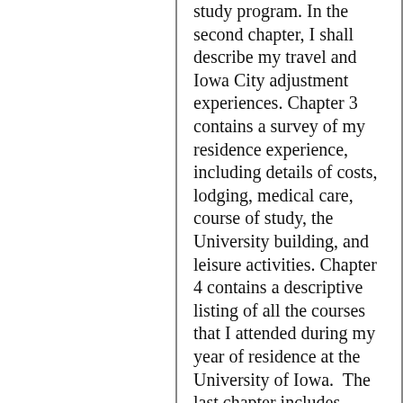study program. In the second chapter, I shall describe my travel and Iowa City adjustment experiences. Chapter 3 contains a survey of my residence experience, including details of costs, lodging, medical care, course of study, the University building, and leisure activities. Chapter 4 contains a descriptive listing of all the courses that I attended during my year of residence at the University of Iowa.  The last chapter includes closing remarks and an evaluation of the "Integrated Foreign Study Program."
I should like to express my sincere thanks to all the individuals whose high degree of personal commitment helped to minimize the inevitable initial difficulties and to make my academic experience a very valuable and wonderful phase of my academic career. I express special thanks to my host family, Ute and Richard Grimlund, who helped me get my bearings in Iowa City when I first arrived; Prof. Dr. Dietrich